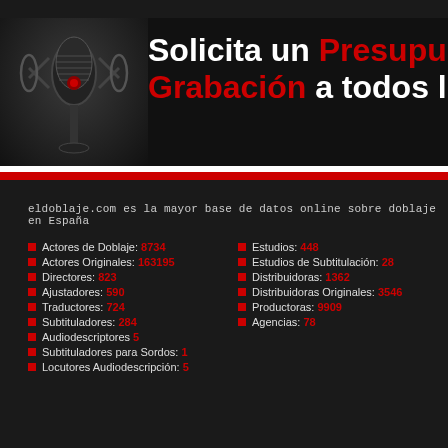[Figure (photo): Dark banner with a studio condenser microphone on the left and bold text on the right reading 'Solicita un Presupuesto Grabación a todos los es...' with white and red text on dark background]
eldoblaje.com es la mayor base de datos online sobre doblaje en España
Actores de Doblaje: 8734
Actores Originales: 163195
Directores: 823
Ajustadores: 590
Traductores: 724
Subtituladores: 284
Audiodescriptores 5
Subtituladores para Sordos: 1
Locutores Audiodescripción: 5
Estudios: 448
Estudios de Subtitulación: 28
Distribuidoras: 1362
Distribuidoras Originales: 3546
Productoras: 9909
Agencias: 78